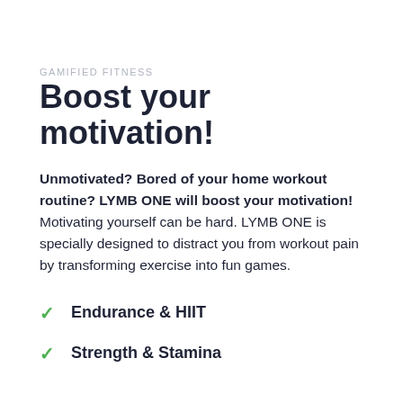GAMIFIED FITNESS
Boost your motivation!
Unmotivated? Bored of your home workout routine? LYMB ONE will boost your motivation! Motivating yourself can be hard. LYMB ONE is specially designed to distract you from workout pain by transforming exercise into fun games.
Endurance & HIIT
Strength & Stamina